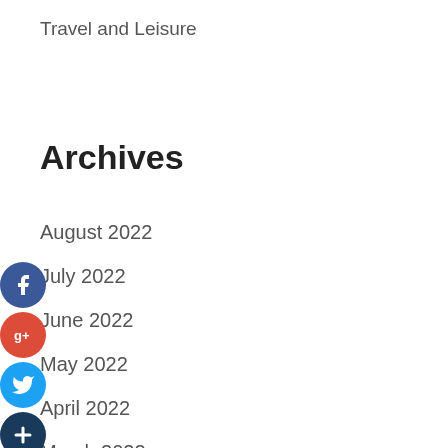Travel and Leisure
Archives
August 2022
July 2022
June 2022
May 2022
April 2022
March 2022
February 2022
January 2022